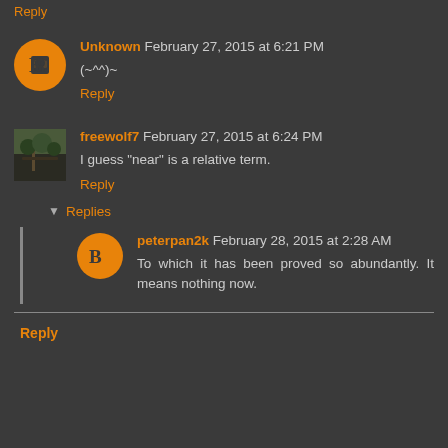Reply
Unknown February 27, 2015 at 6:21 PM
(~^^)~
Reply
freewolf7 February 27, 2015 at 6:24 PM
I guess "near" is a relative term.
Reply
Replies
peterpan2k February 28, 2015 at 2:28 AM
To which it has been proved so abundantly. It means nothing now.
Reply